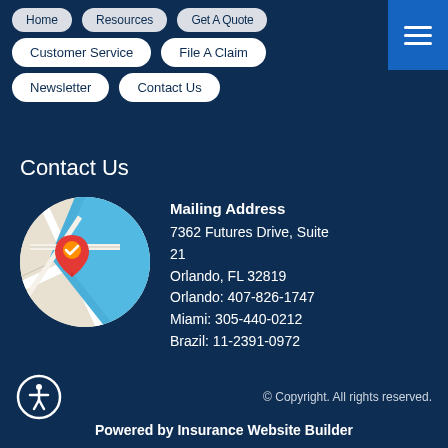Customer Service
File A Claim
Newsletter
Contact Us
Contact Us
[Figure (map): Circular map thumbnail with a red location pin marker with an orange checkmark]
Mailing Address
7362 Futures Drive, Suite 21
Orlando, FL 32819
Orlando: 407-826-1747
Miami: 305-440-0212
Brazil: 11-2391-0972
© Copyright. All rights reserved.
Powered by Insurance Website Builder